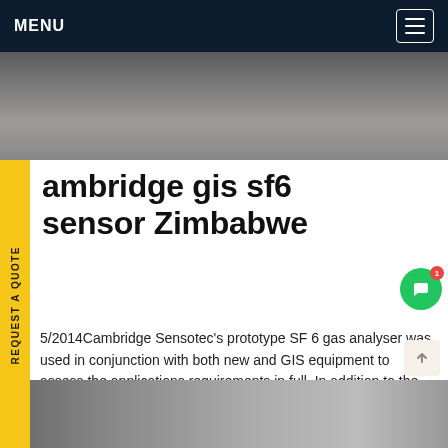MENU
[Figure (photo): Aerial or overhead photo of a dark asphalt/gravel surface]
cambridge gis sf6 sensor Zimbabwe
5/2014Cambridge Sensotec's prototype SF 6 gas analyser was used in conjunction with both new and GIS equipment to assess the applications requirements in full. In addition to the analyser's gas pump back facility, the portable analyser will include high precision gas sensors for measuring SF 6, SO 2 and H 2 O, with the option of addingGet price
[Figure (photo): Bottom strip photo, partially visible]